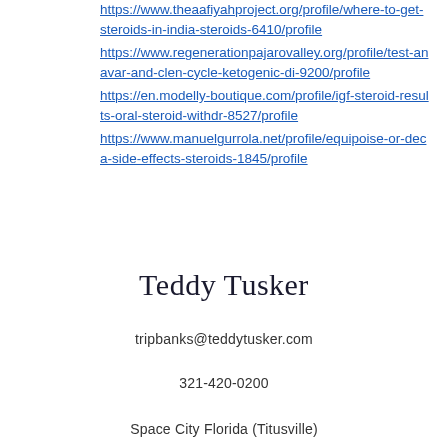https://www.theaafiyahproject.org/profile/where-to-get-steroids-in-india-steroids-6410/profile
https://www.regenerationpajarovalley.org/profile/test-anavar-and-clen-cycle-ketogenic-di-9200/profile
https://en.modelly-boutique.com/profile/igf-steroid-results-oral-steroid-withdr-8527/profile
https://www.manuelgurrola.net/profile/equipoise-or-deca-side-effects-steroids-1845/profile
Teddy Tusker
tripbanks@teddytusker.com
321-420-0200
Space City Florida (Titusville)